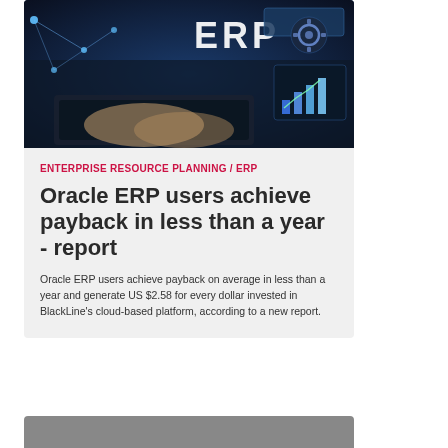[Figure (photo): Person typing on a laptop with ERP digital holographic interface overlay showing network nodes, gear icons, and bar chart graphics on dark blue tech background]
ENTERPRISE RESOURCE PLANNING / ERP
Oracle ERP users achieve payback in less than a year - report
Oracle ERP users achieve payback on average in less than a year and generate US $2.58 for every dollar invested in BlackLine's cloud-based platform, according to a new report.